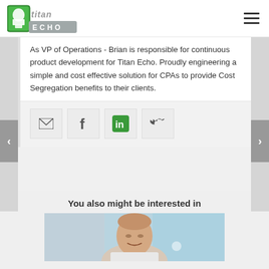[Figure (logo): Titan Echo logo with green helmet icon and stylized italic 'titan' text above 'ECHO' in block letters]
As VP of Operations - Brian is responsible for continuous product development for Titan Echo. Proudly engineering a simple and cost effective solution for CPAs to provide Cost Segregation benefits to their clients.
[Figure (infographic): Social sharing icons row: email envelope, Facebook f, LinkedIn in, Twitter bird — each in a light gray square button]
You also might be interested in
[Figure (photo): Photo of a middle-aged man smiling, with an office/blue background]